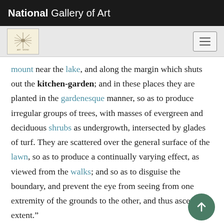National Gallery of Art
mount near the lake, and along the margin which shuts out the kitchen-garden; and in these places they are planted in the gardenesque manner, so as to produce irregular groups of trees, with masses of evergreen and deciduous shrubs as undergrowth, intersected by glades of turf. They are scattered over the general surface of the lawn, so as to produce a continually varying effect, as viewed from the walks; and so as to disguise the boundary, and prevent the eye from seeing from one extremity of the grounds to the other, and thus ascertaining its extent.”